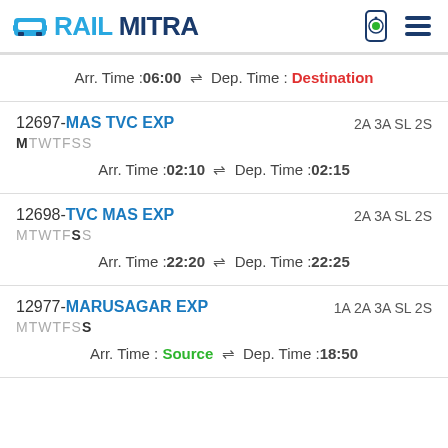RAILMITRA
Arr. Time :06:00 ⇌ Dep. Time :Destination
12697-MAS TVC EXP MTWTFSS 2A 3A SL 2S Arr. Time :02:10 ⇌ Dep. Time :02:15
12698-TVC MAS EXP MTWTFSS 2A 3A SL 2S Arr. Time :22:20 ⇌ Dep. Time :22:25
12977-MARUSAGAR EXP MTWTFSS 1A 2A 3A SL 2S Arr. Time :Source ⇌ Dep. Time :18:50